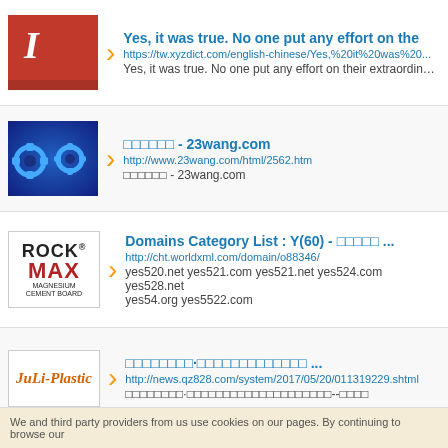Yes, it was true. No one put any effort on the
https://tw.xyzdict.com/english-chinese/Yes,%20it%20was%20...
Yes, it was true. No one put any effort on their extraordinary f
□□□□□□ - 23wang.com
http://www.23wang.com/html/2562.htm
□□□□□□ - 23wang.com
Domains Category List : Y(60) - □□□□□ ...
http://cht.worldxml.com/domain/o88346/
yes520.net yes521.com yes521.net yes524.com yes528.net
yes54.org yes5522.com
□□□□□□□□·□□□□□□□□□□□□□ ...
http://news.qz828.com/system/2017/05/20/011319229.shtml
□□□□□□□□·□□□□□□□□□□□□□□□□□□□□--□□□□
We and third party providers from us use cookies on our pages. By continuing to browse our